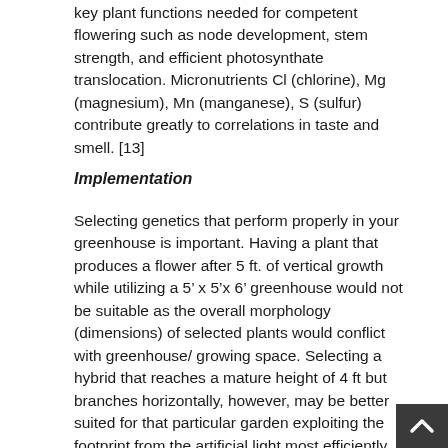key plant functions needed for competent flowering such as node development, stem strength, and efficient photosynthate translocation. Micronutrients Cl (chlorine), Mg (magnesium), Mn (manganese), S (sulfur) contribute greatly to correlations in taste and smell. [13]
Implementation
Selecting genetics that perform properly in your greenhouse is important. Having a plant that produces a flower after 5 ft. of vertical growth while utilizing a 5' x 5'x 6' greenhouse would not be suitable as the overall morphology (dimensions) of selected plants would conflict with greenhouse/ growing space. Selecting a hybrid that reaches a mature height of 4 ft but branches horizontally, however, may be better suited for that particular garden exploiting the footprint from the artificial light most efficiently. When the objective of your cannabis farm is solely yield, starting with the right genetics or clones fro